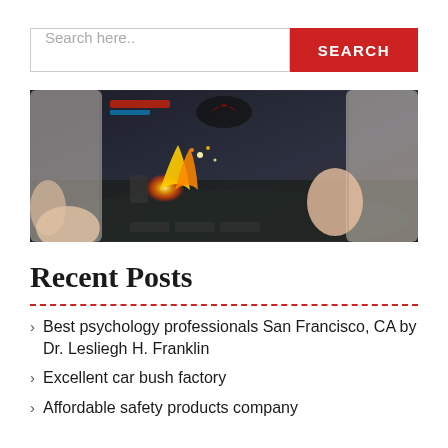Search here..
[Figure (photo): Hands holding a white smartphone displaying a dark action video game with explosions and combat on screen]
Recent Posts
Best psychology professionals San Francisco, CA by Dr. Lesliegh H. Franklin
Excellent car bush factory
Affordable safety products company